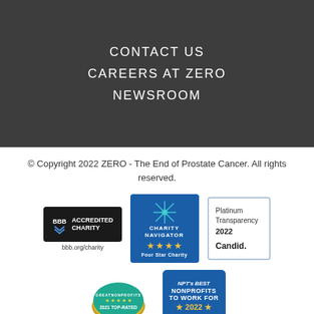CONTACT US
CAREERS AT ZERO
NEWSROOM
© Copyright 2022 ZERO - The End of Prostate Cancer. All rights reserved.
[Figure (logo): BBB Accredited Charity badge with bbb.org/charity URL below]
[Figure (logo): Charity Navigator Four Star Charity badge]
[Figure (logo): Candid Platinum Transparency 2022 badge]
[Figure (logo): GreatNonprofits 2021 Top-Rated badge]
[Figure (logo): NPT's Best Nonprofits To Work For 2022 badge]